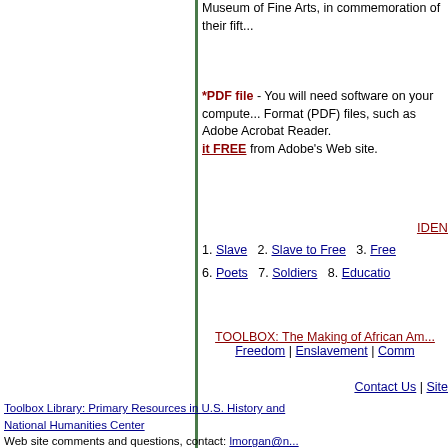Museum of Fine Arts, in commemoration of their fift...
*PDF file - You will need software on your computer to read Portable Document Format (PDF) files, such as Adobe Acrobat Reader. You can download it FREE from Adobe's Web site.
IDEN...
1. Slave  2. Slave to Free  3. Free... 6. Poets  7. Soldiers  8. Educatio...
TOOLBOX: The Making of African Am... Freedom | Enslavement | Comm...
Contact Us | Site...
Toolbox Library: Primary Resources in U.S. History and... National Humanities Center
Web site comments and questions, contact: lmorgan@n...
Copyright © National Humanities Center. All rights reser...
Revised: September 2013
nationalhumanitiescenter.org